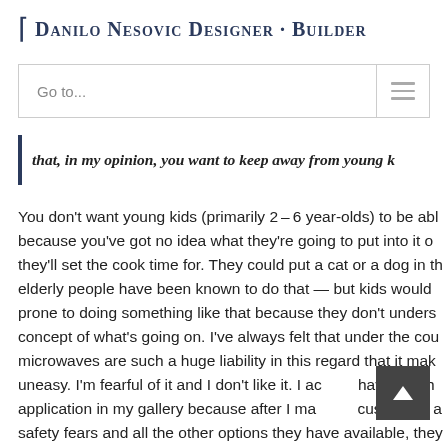Danilo Nesovic Designer · Builder
Go to...
that, in my opinion, you want to keep away from young k...
You don't want young kids (primarily 2–6 year-olds) to be able because you've got no idea what they're going to put into it or they'll set the cook time for. They could put a cat or a dog in th elderly people have been known to do that — but kids would prone to doing something like that because they don't unders concept of what's going on. I've always felt that under the cou microwaves are such a huge liability in this regard that it mak uneasy. I'm fearful of it and I don't like it. I actually have no ph application in my gallery because after I make my customers a safety fears and all the other options they have available, they of the Over the Counter options, in the next section.